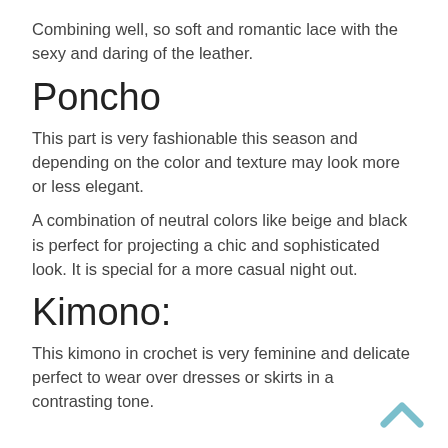Combining well, so soft and romantic lace with the sexy and daring of the leather.
Poncho
This part is very fashionable this season and depending on the color and texture may look more or less elegant.
A combination of neutral colors like beige and black is perfect for projecting a chic and sophisticated look. It is special for a more casual night out.
Kimono:
This kimono in crochet is very feminine and delicate perfect to wear over dresses or skirts in a contrasting tone.